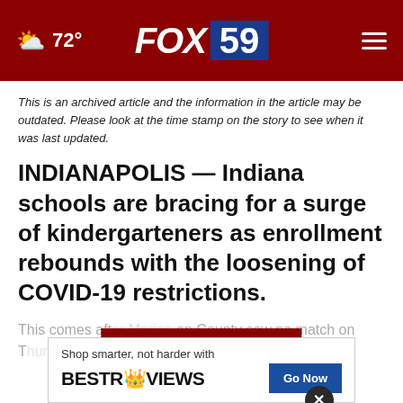72° FOX 59
This is an archived article and the information in the article may be outdated. Please look at the time stamp on the story to see when it was last updated.
INDIANAPOLIS — Indiana schools are bracing for a surge of kindergarteners as enrollment rebounds with the loosening of COVID-19 restrictions.
This comes aft... on County saw no match on T... ... for
CONTINUE READING
[Figure (photo): Video thumbnail showing hands, with a close button (X) overlay]
[Figure (infographic): Advertisement banner: Shop smarter, not harder with BESTREVIEWS Go Now button]